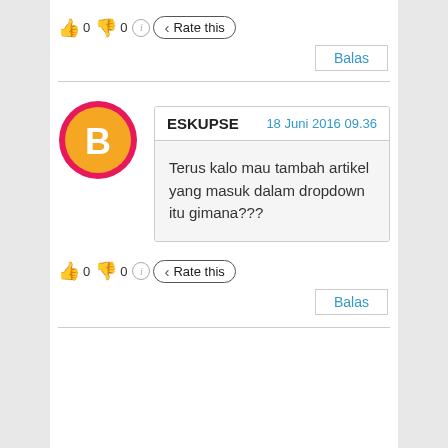[Figure (infographic): Rating row with thumbs up (0), thumbs down (0), info icon, and Rate this button]
Balas
[Figure (illustration): Blogger logo avatar: orange circle with pink/red border and white B icon]
ESKUPSE    18 Juni 2016 09.36
Terus kalo mau tambah artikel yang masuk dalam dropdown itu gimana???
[Figure (infographic): Rating row with thumbs up (0), thumbs down (0), info icon, and Rate this button]
Balas